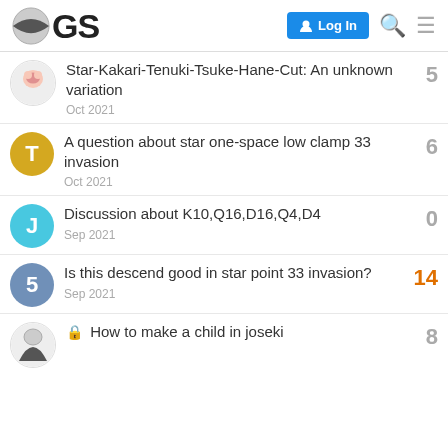OGS — Log In
Star-Kakari-Tenuki-Tsuke-Hane-Cut: An unknown variation — 5 replies — Oct 2021
A question about star one-space low clamp 33 invasion — 6 replies — Oct 2021
Discussion about K10,Q16,D16,Q4,D4 — 0 replies — Sep 2021
Is this descend good in star point 33 invasion? — 14 replies — Sep 2021
🔒 How to make a child in joseki — 8 replies